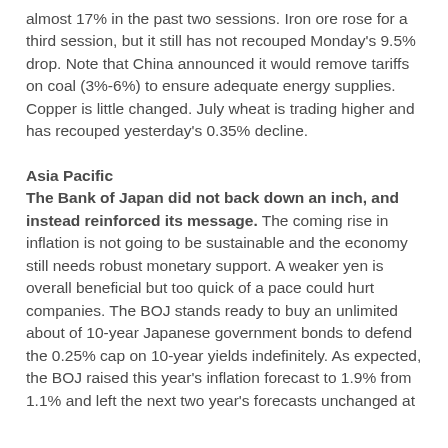almost 17% in the past two sessions. Iron ore rose for a third session, but it still has not recouped Monday's 9.5% drop. Note that China announced it would remove tariffs on coal (3%-6%) to ensure adequate energy supplies. Copper is little changed. July wheat is trading higher and has recouped yesterday's 0.35% decline.
Asia Pacific
The Bank of Japan did not back down an inch, and instead reinforced its message. The coming rise in inflation is not going to be sustainable and the economy still needs robust monetary support. A weaker yen is overall beneficial but too quick of a pace could hurt companies. The BOJ stands ready to buy an unlimited about of 10-year Japanese government bonds to defend the 0.25% cap on 10-year yields indefinitely. As expected, the BOJ raised this year's inflation forecast to 1.9% from 1.1% and left the next two year's forecasts unchanged at